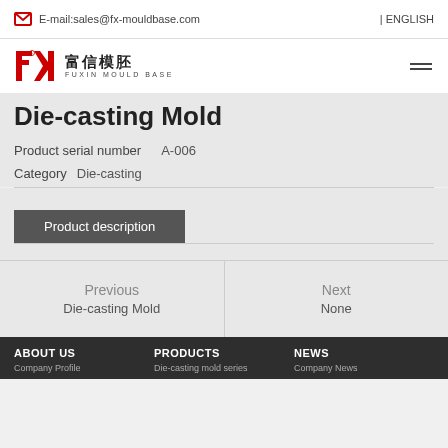E-mail:sales@fx-mouldbase.com | ENGLISH
[Figure (logo): Fuxin Mould Base logo with FX mark in red and Chinese/English text]
Die-casting Mold
Product serial number   A-006
Category  Die-casting
Product description
Previous
Die-casting Mold
Next
None
ABOUT US   PRODUCTS   NEWS
Company Profile   Die-casting mold series   Company News